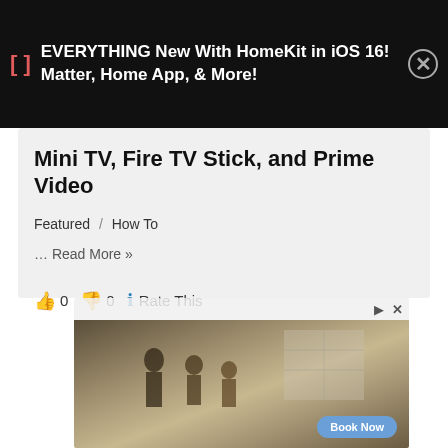[Figure (screenshot): Dark banner with red bracket icon, white bold text 'EVERYTHING New With HomeKit in iOS 16! Matter, Home App, & More!' and a close button.]
Mini TV, Fire TV Stick, and Prime Video
Featured / How To
… Read More »
👍 0 👎 0 ℹ Rate This
[Figure (photo): Advertisement image showing people in a driveway, with a Book Now button overlay.]